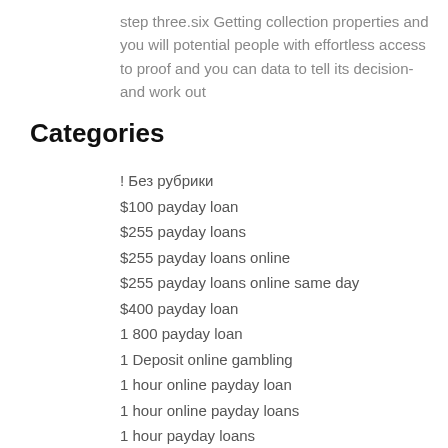step three.six Getting collection properties and you will potential people with effortless access to proof and you can data to tell its decision-and work out
Categories
! Без рубрики
$100 payday loan
$255 payday loans
$255 payday loans online
$255 payday loans online same day
$400 payday loan
1 800 payday loan
1 Deposit online gambling
1 hour online payday loan
1 hour online payday loans
1 hour payday loans
1 hour payday loans no credit check
1 minute payday loans